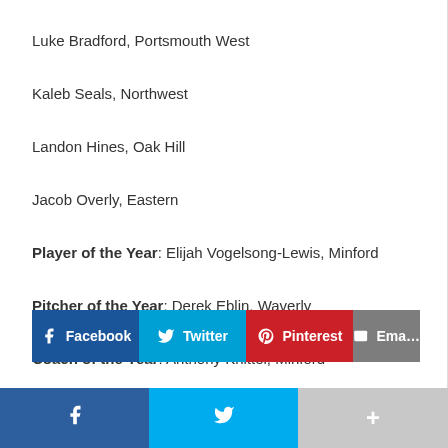Luke Bradford, Portsmouth West
Kaleb Seals, Northwest
Landon Hines, Oak Hill
Jacob Overly, Eastern
Player of the Year: Elijah Vogelsong-Lewis, Minford
Pitcher of the Year: Derek Eblin, Waverly
Coach of the Year: Anthony Knittel, Minford
[Figure (infographic): Social share buttons: Facebook, Twitter, Pinterest, Email]
[Figure (infographic): Bottom navigation bar with Facebook, Twitter, and more icons]